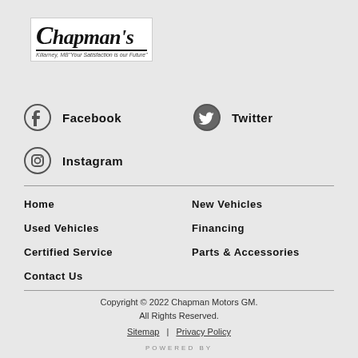[Figure (logo): Chapman's Motors logo with tagline 'Your Satisfaction is our Future' and location Killarney, MB]
Facebook
Twitter
Instagram
Home
New Vehicles
Used Vehicles
Financing
Certified Service
Parts & Accessories
Contact Us
Copyright © 2022 Chapman Motors GM. All Rights Reserved. Sitemap | Privacy Policy POWERED BY